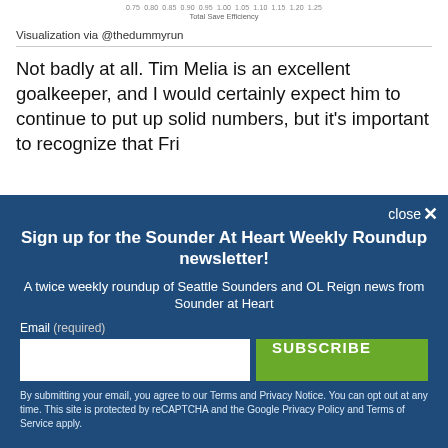Visualization via @thedummyrun
Not badly at all. Tim Melia is an excellent goalkeeper, and I would certainly expect him to continue to put up solid numbers, but it's important to recognize that Fri...
close ×
Sign up for the Sounder At Heart Weekly Roundup newsletter!
A twice weekly roundup of Seattle Sounders and OL Reign news from Sounder at Heart
Email (required)
SUBSCRIBE
By submitting your email, you agree to our Terms and Privacy Notice. You can opt out at any time. This site is protected by reCAPTCHA and the Google Privacy Policy and Terms of Service apply.